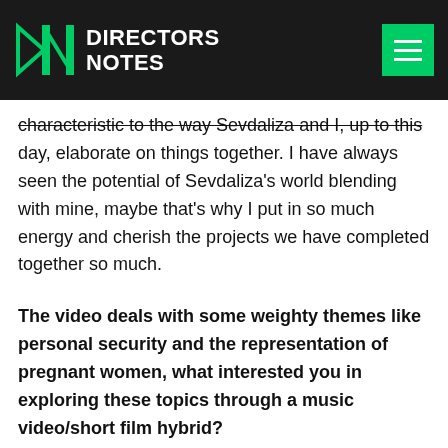DIRECTORS NOTES
characteristic to the way Sevdaliza and I, up to this day, elaborate on things together. I have always seen the potential of Sevdaliza's world blending with mine, maybe that's why I put in so much energy and cherish the projects we have completed together so much.
The video deals with some weighty themes like personal security and the representation of pregnant women, what interested you in exploring these topics through a music video/short film hybrid?
The topic of security is something that has always interested me. I was brought up in a rather malo